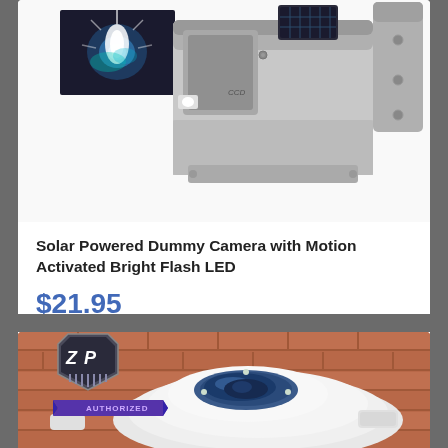[Figure (photo): Product image of a solar powered dummy security camera with motion activated bright flash LED, shown on white background with accessory images]
Solar Powered Dummy Camera with Motion Activated Bright Flash LED
$21.95
[Figure (photo): Solar powered outdoor ground light product photo showing white dome-shaped device on brick paving, with ZP brand badge logo overlay]